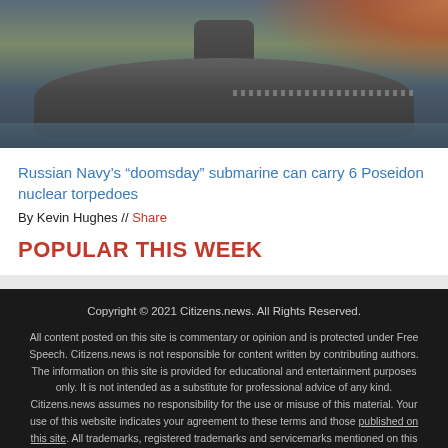[Figure (photo): Photograph of a large Russian submarine surfacing in dark blue water with an orange sunset/glow in the background sky.]
Russian Navy's “doomsday” submarine can carry 6 Poseidon nuclear torpedoes
By Kevin Hughes // Share
POPULAR THIS WEEK
Copyright © 2021 Citizens.news. All Rights Reserved.

All content posted on this site is commentary or opinion and is protected under Free Speech. Citizens.news is not responsible for content written by contributing authors. The information on this site is provided for educational and entertainment purposes only. It is not intended as a substitute for professional advice of any kind. Citizens.news assumes no responsibility for the use or misuse of this material. Your use of this website indicates your agreement to these terms and those published on this site. All trademarks, registered trademarks and servicemarks mentioned on this site are the property of their respective owners.